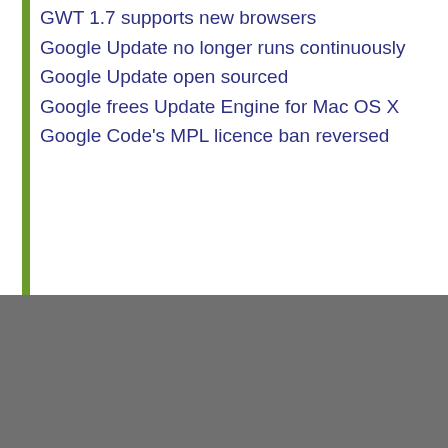GWT 1.7 supports new browsers
Google Update no longer runs continuously
Google Update open sourced
Google frees Update Engine for Mac OS X
Google Code's MPL licence ban reversed